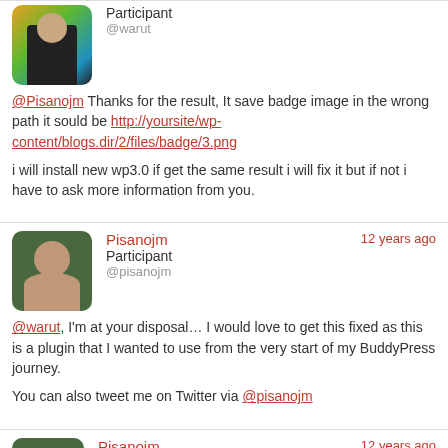[Figure (photo): Avatar of user warut - colorful background with person silhouette]
Participant
@warut
@Pisanojm Thanks for the result, It save badge image in the wrong path it sould be http://yoursite/wp-content/blogs.dir/2/files/badge/3.png
i will install new wp3.0 if get the same result i will fix it but if not i have to ask more information from you.
12 years ago
[Figure (photo): Avatar of user Pisanojm - bald man with dark background]
Pisanojm
Participant
@pisanojm
@warut, I'm at your disposal… I would love to get this fixed as this is a plugin that I wanted to use from the very start of my BuddyPress journey.
You can also tweet me on Twitter via @pisanojm
12 years ago
[Figure (photo): Avatar of user Pisanojm - second instance]
Pisanojm
Participant